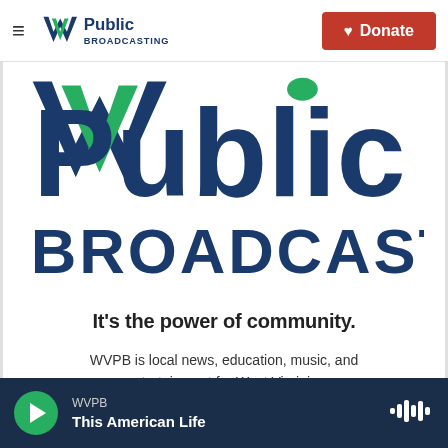WV Public Broadcasting — Donate
[Figure (logo): WV Public Broadcasting large logo with green dot over the 'i' in Public and BROADCASTING in dark blue below]
It's the power of community.
WVPB is local news, education, music, and entertainment for West Virginia. Your donation today will help keep us strong and vital.
WVPB — This American Life (player bar)